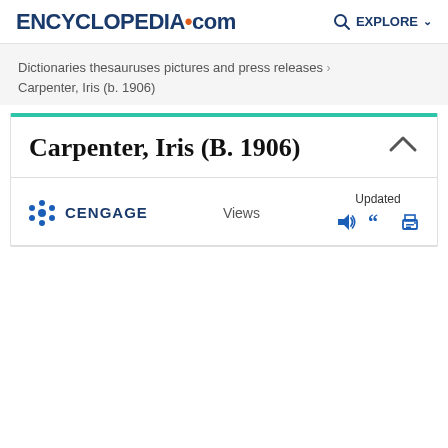ENCYCLopedia.com  EXPLORE
Dictionaries thesauruses pictures and press releases ›
Carpenter, Iris (b. 1906)
Carpenter, Iris (B. 1906)
CENGAGE  Views  Updated